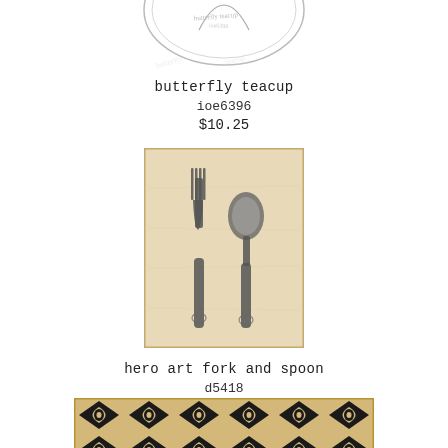[Figure (illustration): Rubber stamp product image of a butterfly teacup, shown partially at top of page with decorative circular design]
butterfly teacup
ioe6396
$10.25
[Figure (illustration): Rubber stamp product image of a fork and spoon side by side on a light wood-colored rectangular stamp block]
hero art fork and spoon
d5418
$6.25
[Figure (illustration): Rubber stamp product image showing a geometric repeating diamond/eye pattern in black on tan/kraft colored background, partially visible at bottom of page]